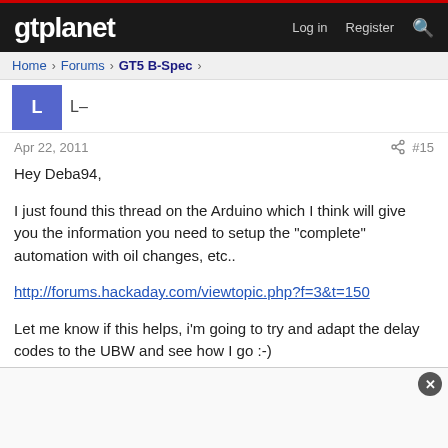gtplanet | Log in | Register
Home › Forums › GT5 B-Spec ›
Apr 22, 2011   #15
Hey Deba94,

I just found this thread on the Arduino which I think will give you the information you need to setup the "complete" automation with oil changes, etc..

http://forums.hackaday.com/viewtopic.php?f=3&t=150

Let me know if this helps, i'm going to try and adapt the delay codes to the UBW and see how I go :-)